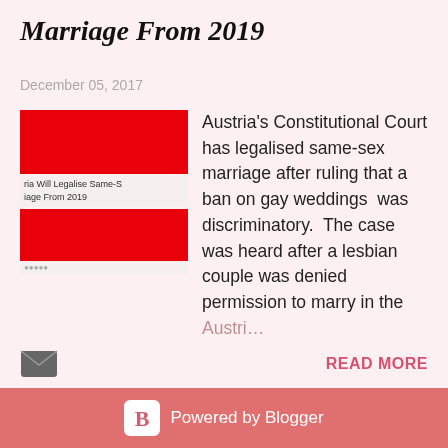Marriage From 2019
December 05, 2017
[Figure (screenshot): Thumbnail image of blog post with red banner and small text label reading 'ria Will Legalise Same-Sex Marriage From 2019']
Austria's Constitutional Court has legalised same-sex marriage after ruling that a ban on gay weddings was discriminatory. The case was heard after a lesbian couple was denied permission to marry in the Austria ...
READ MORE
MORE POSTS
Powered by Blogger